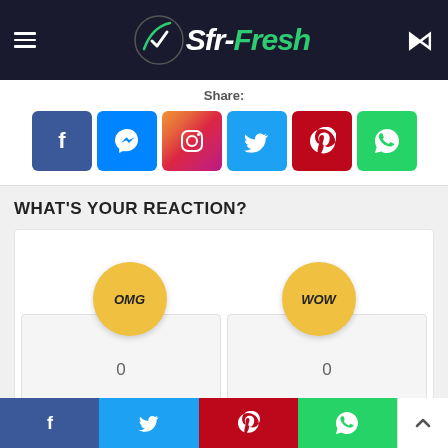[Figure (logo): Sfr-Fresh website logo with rocket/checkmark icon on dark background header with hamburger menu and moon icon]
Share:
[Figure (infographic): Social share buttons: Facebook (blue), Messenger (blue), Instagram (gradient), Twitter (light blue), Pinterest (red), WhatsApp (green)]
WHAT'S YOUR REACTION?
[Figure (infographic): Two reaction emoji circles: OMG (yellow circle) and WOW (yellow circle) with count boxes showing 0 each below]
[Figure (infographic): Bottom share bar with Facebook, Twitter, Pinterest, WhatsApp buttons and scroll-to-top arrow]